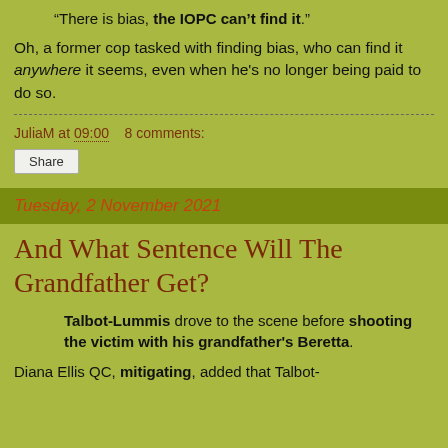“There is bias, the IOPC can’t find it.”
Oh, a former cop tasked with finding bias, who can find it anywhere it seems, even when he’s no longer being paid to do so.
JuliaM at 09:00   8 comments:
Share
Tuesday, 2 November 2021
And What Sentence Will The Grandfather Get?
Talbot-Lummis drove to the scene before shooting the victim with his grandfather’s Beretta.
Diana Ellis QC, mitigating, added that Talbot-